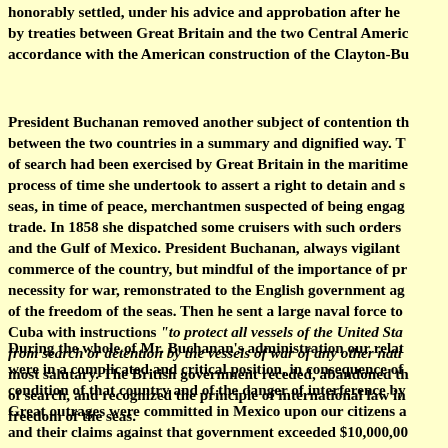honorably settled, under his advice and approbation after he by treaties between Great Britain and the two Central Americ accordance with the American construction of the Clayton-Bu
President Buchanan removed another subject of contention th between the two countries in a summary and dignified way. T of search had been exercised by Great Britain in the maritime process of time she undertook to assert a right to detain and s seas, in time of peace, merchantmen suspected of being engag trade. In 1858 she dispatched some cruisers with such orders and the Gulf of Mexico. President Buchanan, always vigilant commerce of the country, but mindful of the importance of pr necessity for war, remonstrated to the English government ag of the freedom of the seas. Then he sent a large naval force to Cuba with instructions "to protect all vessels of the United Sta from search or detention by the vessels of war of any other nati most salutary. The British government receded, abandoned th of search, and recognized the principle of international law in freedom of the seas.
During the whole of Mr. Buchanan's administration our relat were in a complicated and critical position, in consequence of condition of that country and of the danger of interference by Great outrages were committed in Mexico upon our citizens a and their claims against that government exceeded $10,000,00 recommended to congress to send assistance to the constitu